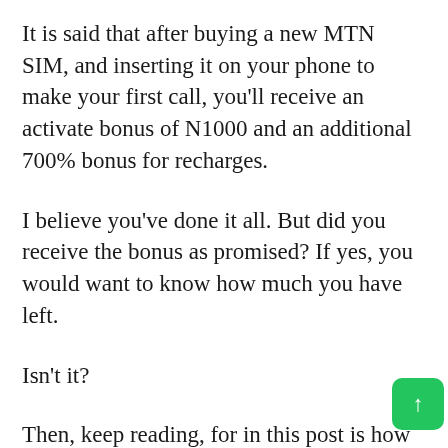It is said that after buying a new MTN SIM, and inserting it on your phone to make your first call, you’ll receive an activate bonus of N1000 and an additional 700% bonus for recharges.
I believe you’ve done it all. But did you receive the bonus as promised? If yes, you would want to know how much you have left.
Isn’t it?
Then, keep reading, for in this post is how to check MTN Yafun Yafun bonus balance b[...] for data and airtime. Not only that, as you’ll